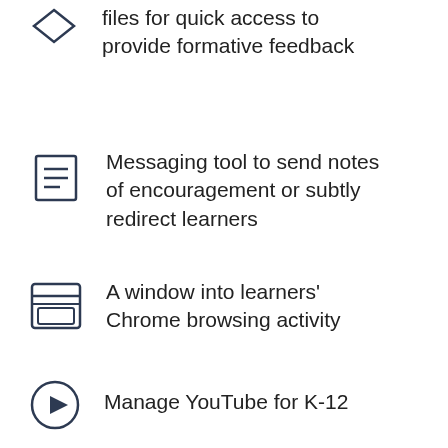files for quick access to provide formative feedback
Messaging tool to send notes of encouragement or subtly redirect learners
A window into learners' Chrome browsing activity
Manage YouTube for K-12